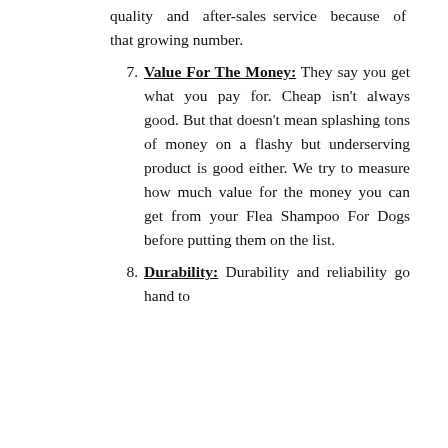quality and after-sales service because of that growing number.
7. Value For The Money: They say you get what you pay for. Cheap isn't always good. But that doesn't mean splashing tons of money on a flashy but underserving product is good either. We try to measure how much value for the money you can get from your Flea Shampoo For Dogs before putting them on the list.
8. Durability: Durability and reliability go hand to